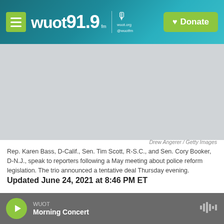WUOT 91.9 FM | Donate
[Figure (photo): Photo of Rep. Karen Bass, Sen. Tim Scott, and Sen. Cory Booker speaking to reporters, with a placeholder gray background shown in this screenshot]
Drew Angerer / Getty Images
Rep. Karen Bass, D-Calif., Sen. Tim Scott, R-S.C., and Sen. Cory Booker, D-N.J., speak to reporters following a May meeting about police reform legislation. The trio announced a tentative deal Thursday evening.
Updated June 24, 2021 at 8:46 PM ET
Lawmakers in Washington, D.C., have reached a preliminary, bipartisan agreement on police reform after months of closely watched debate on the
WUOT Morning Concert